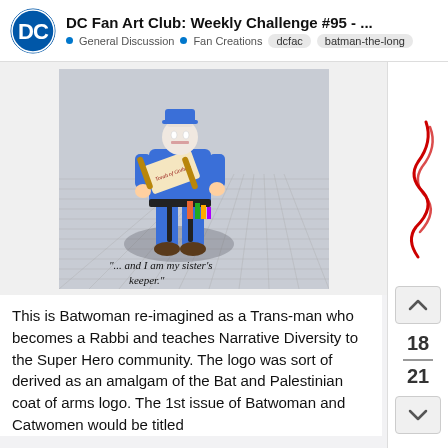DC Fan Art Club: Weekly Challenge #95 - ... | General Discussion | Fan Creations | dcfac | batman-the-long
[Figure (illustration): A 3D rendered figure of a character in blue clothing, holding a scroll labeled 'Torah of Gotham', wearing a blue hat, with colorful accessories at the waist. Standing on a grey grid floor with a shadow. Text below reads: '"... and I am my sister's keeper."']
This is Batwoman re-imagined as a Trans-man who becomes a Rabbi and teaches Narrative Diversity to the Super Hero community. The logo was sort of derived as an amalgam of the Bat and Palestinian coat of arms logo. The 1st issue of Batwoman and Catwomen would be titled